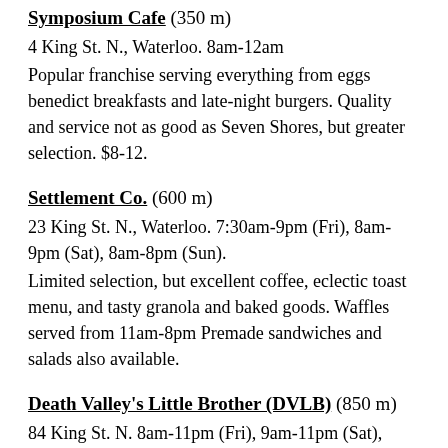Symposium Cafe (350 m)
4 King St. N., Waterloo. 8am-12am
Popular franchise serving everything from eggs benedict breakfasts and late-night burgers. Quality and service not as good as Seven Shores, but greater selection. $8-12.
Settlement Co. (600 m)
23 King St. N., Waterloo. 7:30am-9pm (Fri), 8am-9pm (Sat), 8am-8pm (Sun).
Limited selection, but excellent coffee, eclectic toast menu, and tasty granola and baked goods. Waffles served from 11am-8pm Premade sandwiches and salads also available.
Death Valley's Little Brother (DVLB) (850 m)
84 King St. N. 8am-11pm (Fri), 9am-11pm (Sat), 9am-7pm (Sun).
No robust breakfasts, but this cozy, modern haunt offers